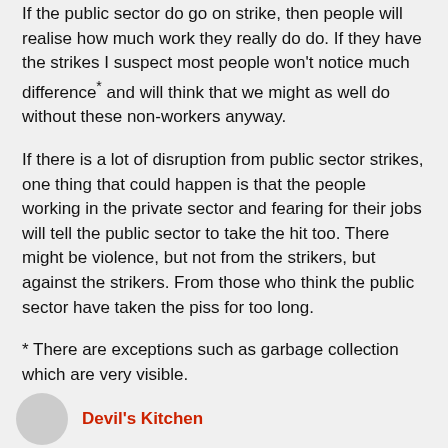If the public sector do go on strike, then people will realise how much work they really do do. If they have the strikes I suspect most people won't notice much difference* and will think that we might as well do without these non-workers anyway.
If there is a lot of disruption from public sector strikes, one thing that could happen is that the people working in the private sector and fearing for their jobs will tell the public sector to take the hit too. There might be violence, but not from the strikers, but against the strikers. From those who think the public sector have taken the piss for too long.
* There are exceptions such as garbage collection which are very visible.
Devil's Kitchen